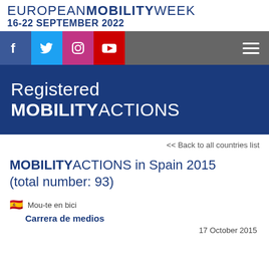EUROPEAN MOBILITY WEEK 16-22 SEPTEMBER 2022
[Figure (screenshot): Navigation bar with social media icons (Facebook, Twitter, Instagram, YouTube) on grey background and hamburger menu]
Registered MOBILITY ACTIONS
<< Back to all countries list
MOBILITY ACTIONS in Spain 2015 (total number: 93)
Mou-te en bici
Carrera de medios
17 October 2015